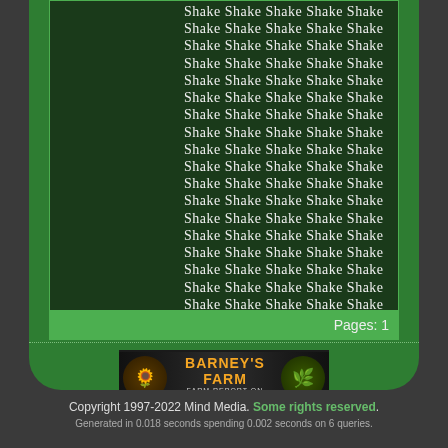Shake Shake Shake Shake Shake (repeated 19 lines)
Pages: 1
[Figure (illustration): Barney's Farm advertisement banner with flower imagery and text 'KIMBAL T-ORANGE PINE' and 'BLUE GELAT SAUCER?' and 'FARM REPORT ON SEEDS']
Copyright 1997-2022 Mind Media. Some rights reserved.
Generated in 0.018 seconds spending 0.002 seconds on 6 queries.